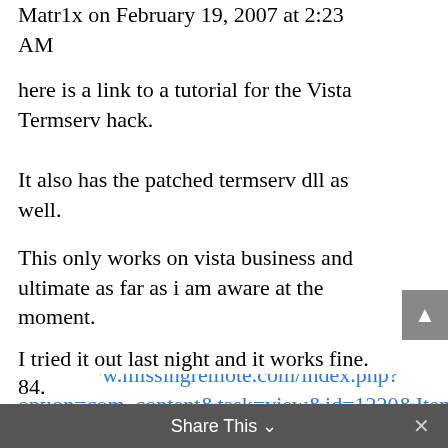Matr1x on February 19, 2007 at 2:23 AM
here is a link to a tutorial for the Vista Termserv hack.
It also has the patched termserv dll as well.
This only works on vista business and ultimate as far as i am aware at the moment.
http://www.missingremote.com/index.php?option=com_content&task=view&id=1220&Itemid=1
I tried it out last night and it works fine.
84.
Share This ∨   ×